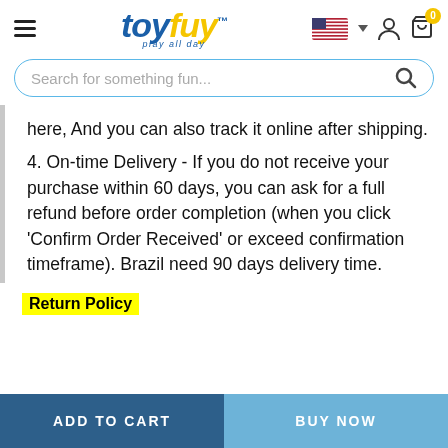[Figure (logo): toyfuy logo with blue 'toy' and yellow 'fuy' stylized text, subtitle 'play all day']
here, And you can also track it online after shipping.
4. On-time Delivery - If you do not receive your purchase within 60 days, you can ask for a full refund before order completion (when you click 'Confirm Order Received' or exceed confirmation timeframe). Brazil need 90 days delivery time.
Return Policy